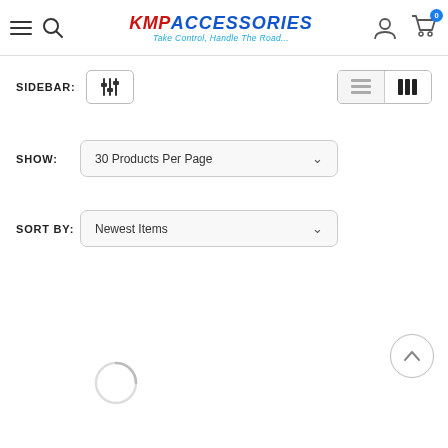[Figure (logo): KMP Accessories logo with red KMP and blue ACCESSORIES text in italic bold, tagline 'Take Control, Handle The Road...' in blue italic]
SIDEBAR:
[Figure (other): Filter/sidebar toggle icon button with three vertical sliders]
[Figure (other): View toggle buttons: list view and grid view (grid view active)]
SHOW:
30 Products Per Page
SORT BY:
Newest Items
[Figure (other): Scroll to top circular button with upward chevron]
[Figure (other): Loading spinner arc indicator]